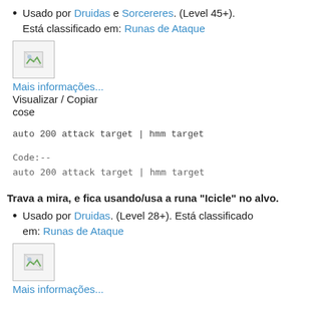Usado por Druidas e Sorcereres. (Level 45+). Está classificado em: Runas de Ataque
[Figure (illustration): Small image placeholder with broken image icon]
Mais informações...
Visualizar / Copiar
cose
Code:--
auto 200 attack target | hmm target
Trava a mira, e fica usando/usa a runa "Icicle" no alvo.
Usado por Druidas. (Level 28+). Está classificado em: Runas de Ataque
[Figure (illustration): Small image placeholder with broken image icon]
Mais informações...